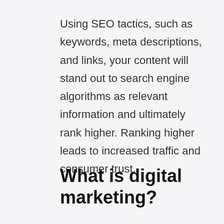Using SEO tactics, such as keywords, meta descriptions, and links, your content will stand out to search engine algorithms as relevant information and ultimately rank higher. Ranking higher leads to increased traffic and consumer trust.
What is digital marketing?